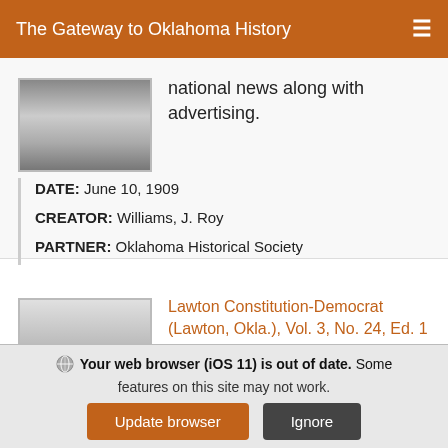The Gateway to Oklahoma History
national news along with advertising.
DATE: June 10, 1909
CREATOR: Williams, J. Roy
PARTNER: Oklahoma Historical Society
Lawton Constitution-Democrat (Lawton, Okla.), Vol. 3, No. 24, Ed. 1 Thursday, February 10, 1910
Semi-weekly newspaper from Lawton, Oklahoma that
Your web browser (iOS 11) is out of date. Some features on this site may not work.